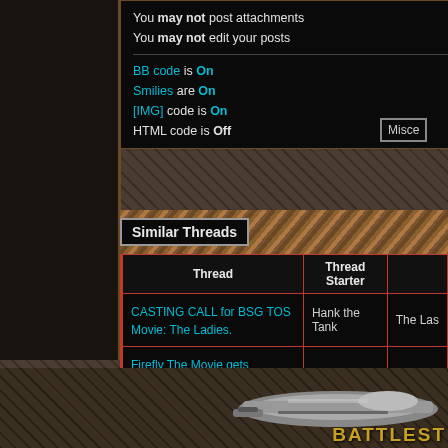You may not post attachments
You may not edit your posts
BB code is On
Smilies are On
[IMG] code is On
HTML code is Off
Similar Threads
| Thread | Thread Starter |  |
| --- | --- | --- |
| CASTING CALL for BSG TOS Movie: The Ladies. | Hank the Tank | The Las… |
| Firefly The Movie gets Greenlighted! | thomas7g | Miscella… |
| Firefly Movie | jonahlee | Miscella… |
| Johnny English Great Movie... | Muffit | Miscella… |
| MGM or Fox to do Larsonâ€™s Battlestar movie? | dvo47p | The Las… |
[Figure (screenshot): Battlestar Galactica themed forum page bottom banner with spaceship image and 'BATTLEST' text in gold]